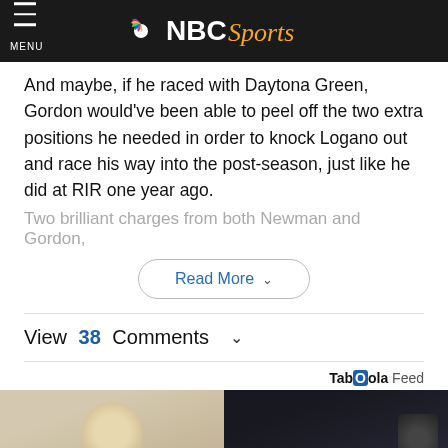MENU | NBC Sports
And maybe, if he raced with Daytona Green, Gordon would've been able to peel off the two extra positions he needed in order to knock Logano out and race his way into the post-season, just like he did at RIR one year ago.
Two brilliant charges from both Newman and Gordon,
Read More
View 38 Comments
Taboola Feed
[Figure (photo): Two side-by-side advertisement images at the bottom of the page]